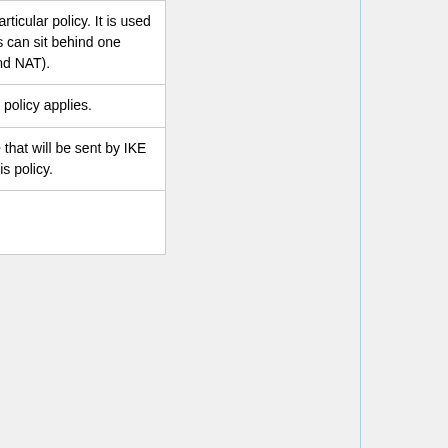| Parameter | Description |
| --- | --- |
|  | SA that is only used with this particular policy. It is used in setups where multiple clients can sit behind one public IP address (clients behind NAT). |
| peer (string; Default: ) | Name of the peer on which the policy applies. |
| proposal (string; Default: default) | Name of the proposal template that will be sent by IKE daemon to establish SAs for this policy. |
| protocol (all | egp | ggp| icmp | igmp | ...; Default: all) | IP packet protocol to match. |